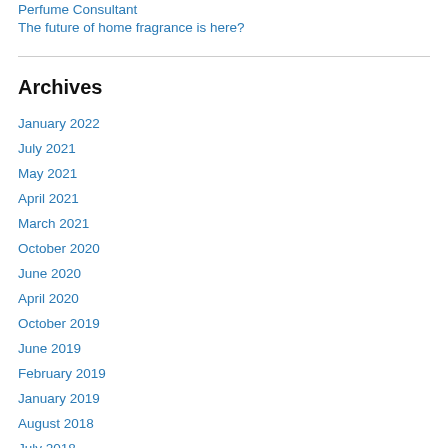Perfume Consultant
The future of home fragrance is here?
Archives
January 2022
July 2021
May 2021
April 2021
March 2021
October 2020
June 2020
April 2020
October 2019
June 2019
February 2019
January 2019
August 2018
July 2018
May 2018